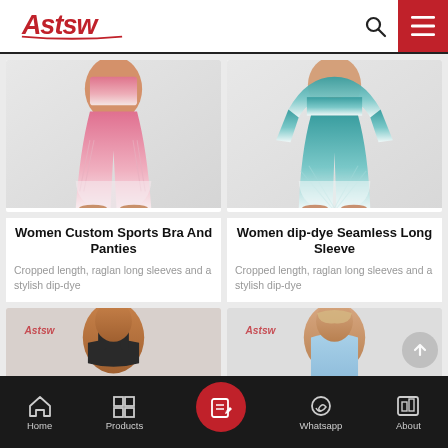Astsw — Header with logo, search, and menu
[Figure (photo): Woman wearing pink ombre sports bra and leggings (yoga wear), lower body shown, gradient from pink to white]
Women Custom Sports Bra And Panties
Cropped length, raglan long sleeves and a stylish dip-dye
[Figure (photo): Woman wearing teal/mint ombre seamless long sleeve and leggings, lower body shown, gradient from teal to white]
Women dip-dye Seamless Long Sleeve
Cropped length, raglan long sleeves and a stylish dip-dye
[Figure (photo): Woman wearing black sports bra, upper body shown, Astsw logo watermark visible]
[Figure (photo): Woman wearing light blue racerback tank top, upper body shown, Astsw logo watermark visible]
Home | Products | [contact/form] | Whatsapp | About